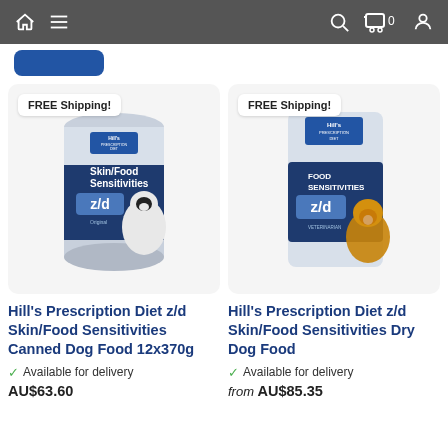Navigation bar with home, menu, search, cart (0), and account icons
[Figure (photo): Hill's Prescription Diet z/d Skin/Food Sensitivities Canned Dog Food 12x370g product image with FREE Shipping badge]
[Figure (photo): Hill's Prescription Diet z/d Skin/Food Sensitivities Dry Dog Food product image with FREE Shipping badge]
Hill's Prescription Diet z/d Skin/Food Sensitivities Canned Dog Food 12x370g
Hill's Prescription Diet z/d Skin/Food Sensitivities Dry Dog Food
Available for delivery
AU$63.60
Available for delivery
from AU$85.35